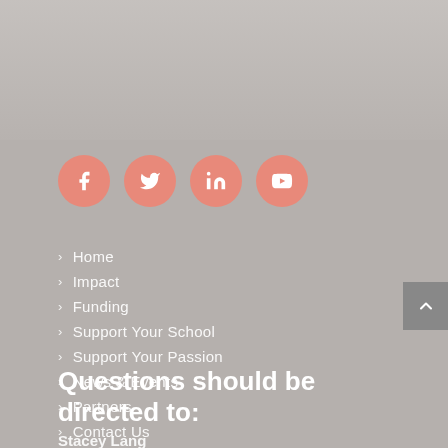[Figure (infographic): Four social media icon buttons (Facebook, Twitter, LinkedIn, YouTube) in salmon/coral circular buttons]
Home
Impact
Funding
Support Your School
Support Your Passion
News & Events
Partners
Contact Us
Questions should be directed to:
Stacey Lang